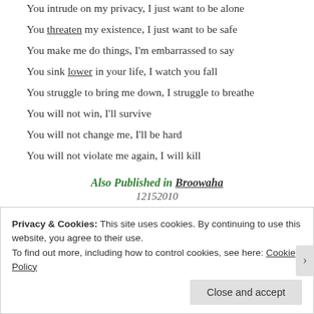You intrude on my privacy, I just want to be alone
You threaten my existence, I just want to be safe
You make me do things, I'm embarrassed to say
You sink lower in your life, I watch you fall
You struggle to bring me down, I struggle to breathe
You will not win, I'll survive
You will not change me, I'll be hard
You will not violate me again, I will kill
Also Published in Broowaha
12152010
Privacy & Cookies: This site uses cookies. By continuing to use this website, you agree to their use.
To find out more, including how to control cookies, see here: Cookie Policy
Close and accept